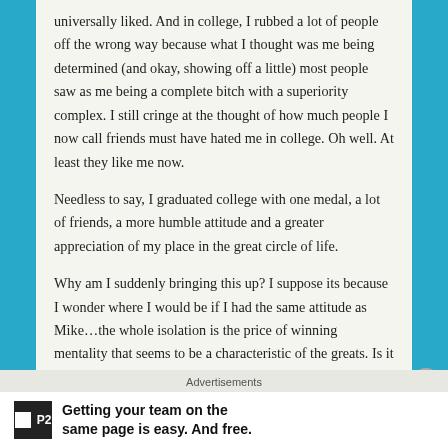universally liked. And in college, I rubbed a lot of people off the wrong way because what I thought was me being determined (and okay, showing off a little) most people saw as me being a complete bitch with a superiority complex. I still cringe at the thought of how much people I now call friends must have hated me in college. Oh well. At least they like me now.
Needless to say, I graduated college with one medal, a lot of friends, a more humble attitude and a greater appreciation of my place in the great circle of life.
Why am I suddenly bringing this up? I suppose its because I wonder where I would be if I had the same attitude as Mike…the whole isolation is the price of winning mentality that seems to be a characteristic of the greats. Is it worth it? Or is the old
Advertisements
Getting your team on the same page is easy. And free.